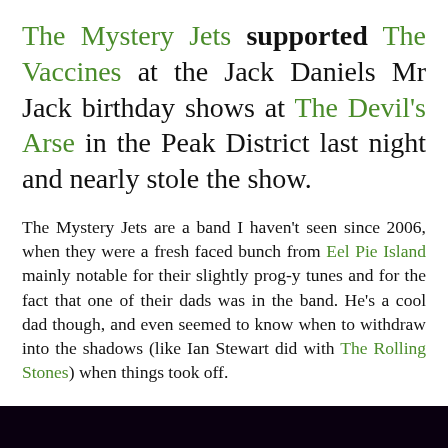The Mystery Jets supported The Vaccines at the Jack Daniels Mr Jack birthday shows at The Devil's Arse in the Peak District last night and nearly stole the show.
The Mystery Jets are a band I haven't seen since 2006, when they were a fresh faced bunch from Eel Pie Island mainly notable for their slightly prog-y tunes and for the fact that one of their dads was in the band. He's a cool dad though, and even seemed to know when to withdraw into the shadows (like Ian Stewart did with The Rolling Stones) when things took off.
[Figure (photo): A partial image strip at the bottom of the page showing a dark scene with purple lighting, likely a concert photo.]